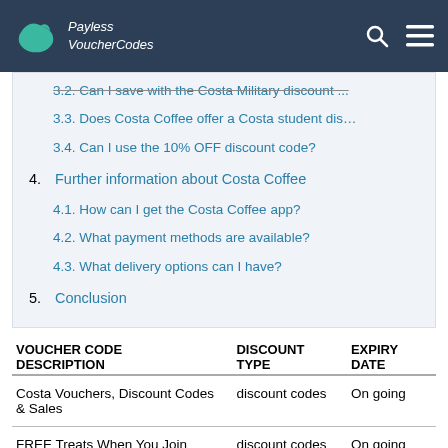Payless VoucherCodes
3.2. Can I save with the Costa Military discount ...
3.3. Does Costa Coffee offer a Costa student dis…
3.4. Can I use the 10% OFF discount code?
4. Further information about Costa Coffee
4.1. How can I get the Costa Coffee app?
4.2. What payment methods are available?
4.3. What delivery options can I have?
5. Conclusion
| VOUCHER CODE DESCRIPTION | DISCOUNT TYPE | EXPIRY DATE |
| --- | --- | --- |
| Costa Vouchers, Discount Codes & Sales | discount codes | On going |
| FREE Treats When You Join | discount codes | On going |